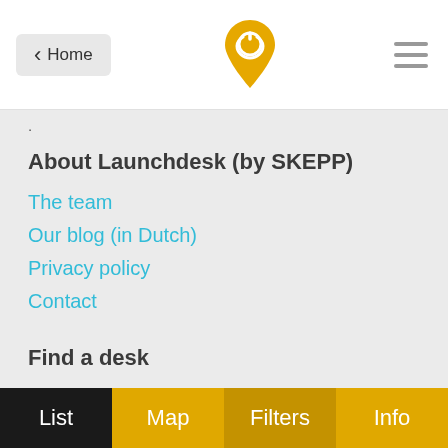Home | [logo] | [menu]
About Launchdesk (by SKEPP)
The team
Our blog (in Dutch)
Privacy policy
Contact
Find a desk
All fixed desks in Tubbergen
Nederlands
Deze pagina in het Nederlands
List | Map | Filters | Info